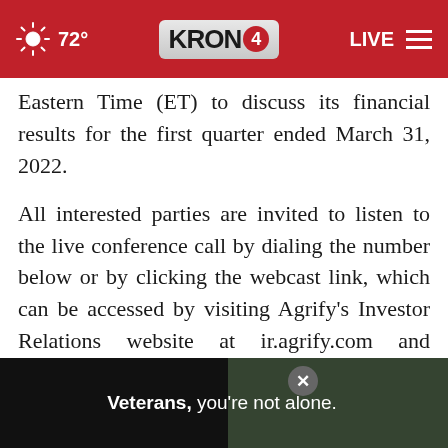72° KRON4 LIVE
Eastern Time (ET) to discuss its financial results for the first quarter ended March 31, 2022.
All interested parties are invited to listen to the live conference call by dialing the number below or by clicking the webcast link, which can be accessed by visiting Agrify's Investor Relations website at ir.agrify.com and navigating to the Events page. The Company has also posted an accompanying slide presentation, which can be found in the same location as the webcast.
[Figure (screenshot): Advertisement overlay: dark background with text 'Veterans, you're not alone.' and a close button (X) in top right corner]